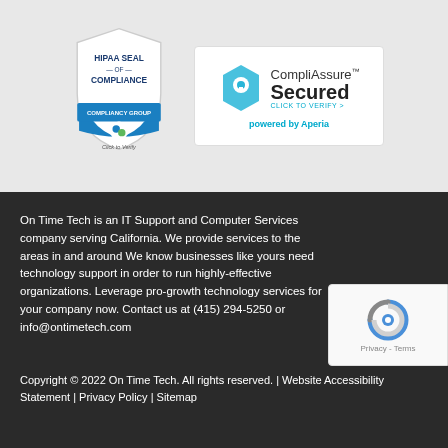[Figure (logo): HIPAA Seal of Compliance - Compliancy Group shield badge with 'Click to Verify' text]
[Figure (logo): CompliAssure Secured badge - hexagon with lock icon, 'CompliAssure Secured CLICK TO VERIFY >' text, powered by Aperia]
On Time Tech is an IT Support and Computer Services company serving California. We provide services to the areas in and around We know businesses like yours need technology support in order to run highly-effective organizations. Leverage pro-growth technology services for your company now. Contact us at (415) 294-5250 or info@ontimetech.com
Copyright © 2022 On Time Tech. All rights reserved. | Website Accessibility Statement | Privacy Policy | Sitemap